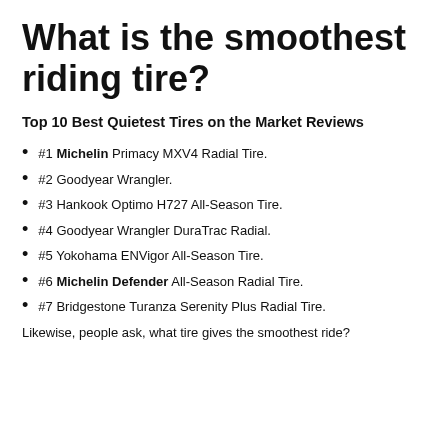What is the smoothest riding tire?
Top 10 Best Quietest Tires on the Market Reviews
#1 Michelin Primacy MXV4 Radial Tire.
#2 Goodyear Wrangler.
#3 Hankook Optimo H727 All-Season Tire.
#4 Goodyear Wrangler DuraTrac Radial.
#5 Yokohama ENVigor All-Season Tire.
#6 Michelin Defender All-Season Radial Tire.
#7 Bridgestone Turanza Serenity Plus Radial Tire.
Likewise, people ask, what tire gives the smoothest ride?